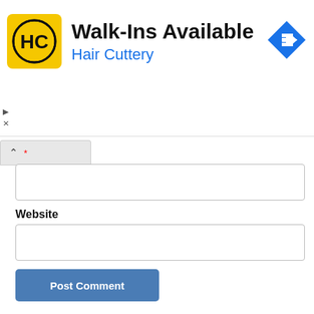[Figure (screenshot): Hair Cuttery advertisement banner with yellow HC logo, 'Walk-Ins Available' heading, 'Hair Cuttery' subtitle in blue, and a blue diamond direction arrow icon on the right.]
* (required field, collapsed form section with caret/up arrow)
(empty text input box)
Website
(empty website input box)
Post Comment
Recent Comments
Just passing on DEBITO.ORG NEWSLETTER AUGUST 22, 2022
Brooks on Asahi: Okayama public prosecutors drop co-worker violence claim by Vietnamese “Trainee” despite video evidence. No wonder Japan's violent bully culture thrives! (UPDATE: Out-of-court settlement was reached)